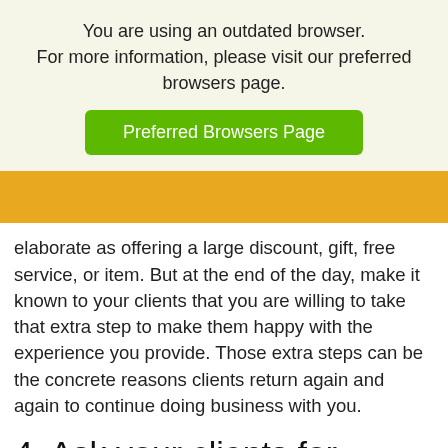You are using an outdated browser. For more information, please visit our preferred browsers page.
Preferred Browsers Page
elaborate as offering a large discount, gift, free service, or item. But at the end of the day, make it known to your clients that you are willing to take that extra step to make them happy with the experience you provide. Those extra steps can be the concrete reasons clients return again and again to continue doing business with you.
4. Ask your clients for feedback.